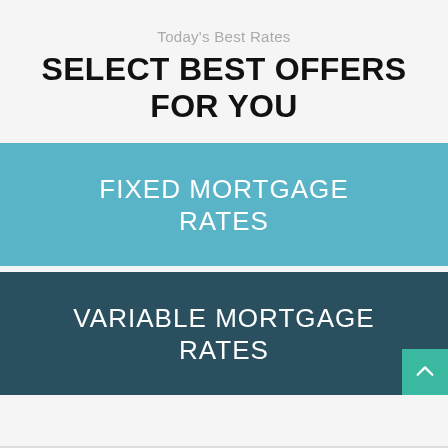Today's Best Rates
SELECT BEST OFFERS FOR YOU
FIXED MORTGAGE RATES
VARIABLE MORTGAGE RATES